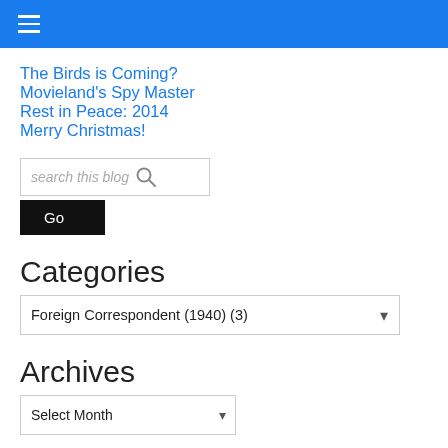☰ (hamburger menu)
The Birds is Coming?
Movieland's Spy Master
Rest in Peace: 2014
Merry Christmas!
search this blog 🔍
Go
Categories
Foreign Correspondent (1940)  (3)
Archives
Select Month
Links